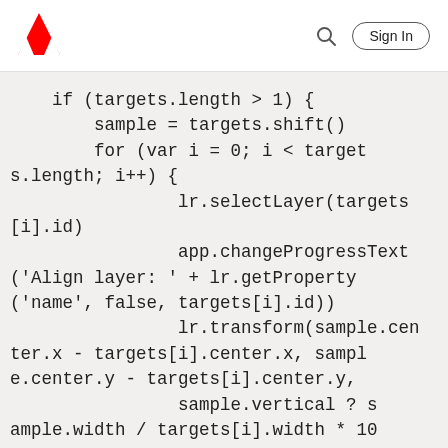Adobe logo, search icon, Sign In button
if (targets.length > 1) {
        sample = targets.shift()
        for (var i = 0; i < targets.length; i++) {
                lr.selectLayer(targets[i].id)
                app.changeProgressText('Align layer: ' + lr.getProperty('name', false, targets[i].id))
                lr.transform(sample.center.x - targets[i].center.x, sample.center.y - targets[i].center.y,
                sample.vertical ? sample.width / targets[i].width * 10